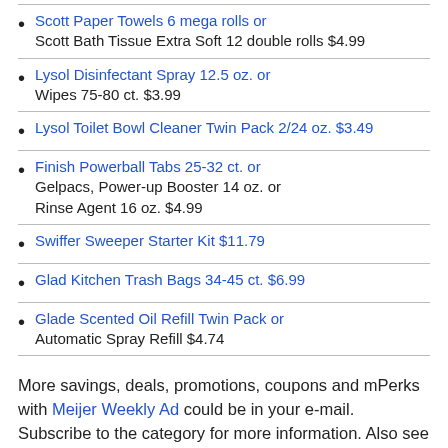Scott Paper Towels 6 mega rolls or Scott Bath Tissue Extra Soft 12 double rolls $4.99
Lysol Disinfectant Spray 12.5 oz. or Wipes 75-80 ct. $3.99
Lysol Toilet Bowl Cleaner Twin Pack 2/24 oz. $3.49
Finish Powerball Tabs 25-32 ct. or Gelpacs, Power-up Booster 14 oz. or Rinse Agent 16 oz. $4.99
Swiffer Sweeper Starter Kit $11.79
Glad Kitchen Trash Bags 34-45 ct. $6.99
Glade Scented Oil Refill Twin Pack or Automatic Spray Refill $4.74
More savings, deals, promotions, coupons and mPerks with Meijer Weekly Ad could be in your e-mail. Subscribe to the category for more information. Also see on this ad; baby products,